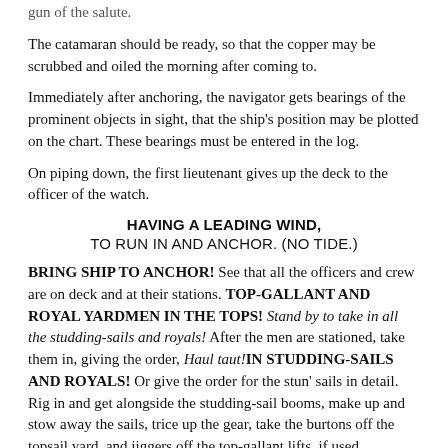gun of the salute.
The catamaran should be ready, so that the copper may be scrubbed and oiled the morning after coming to.
Immediately after anchoring, the navigator gets bearings of the prominent objects in sight, that the ship's position may be plotted on the chart. These bearings must be entered in the log.
On piping down, the first lieutenant gives up the deck to the officer of the watch.
HAVING A LEADING WIND,
TO RUN IN AND ANCHOR. (NO TIDE.)
BRING SHIP TO ANCHOR! See that all the officers and crew are on deck and at their stations. TOP-GALLANT AND ROYAL YARDMEN IN THE TOPS! Stand by to take in all the studding-sails and royals! After the men are stationed, take them in, giving the order, Haul taut!IN STUDDING-SAILS AND ROYALS! Or give the order for the stun' sails in detail. Rig in and get alongside the studding-sail booms, make up and stow away the sails, trice up the gear, take the burtons off the topsail yard, and jiggers off the top-gallant lifts, if used.
Man the top-gallant clewlines! Fore clew-garnets and buntlines! and when ready, Haul taut!IN TOP-GALLANT SAILS UP FORESAIL!